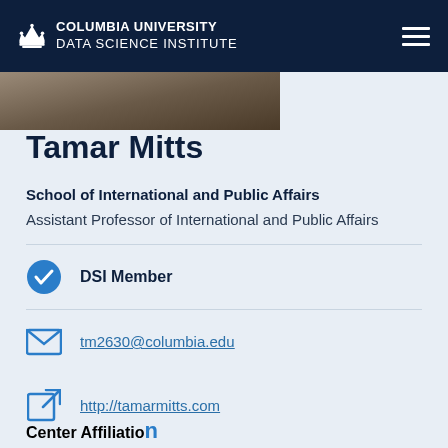Columbia University Data Science Institute
[Figure (photo): Partial photo of a person, cropped at the bottom of the header area]
Tamar Mitts
School of International and Public Affairs
Assistant Professor of International and Public Affairs
DSI Member
tm2630@columbia.edu
http://tamarmitts.com
Center Affiliatio